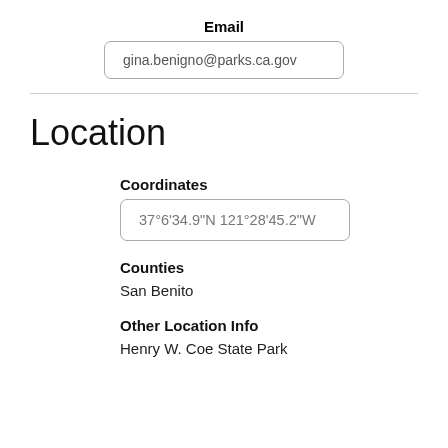Email
gina.benigno@parks.ca.gov
Location
Coordinates
37°6'34.9"N 121°28'45.2"W
Counties
San Benito
Other Location Info
Henry W. Coe State Park